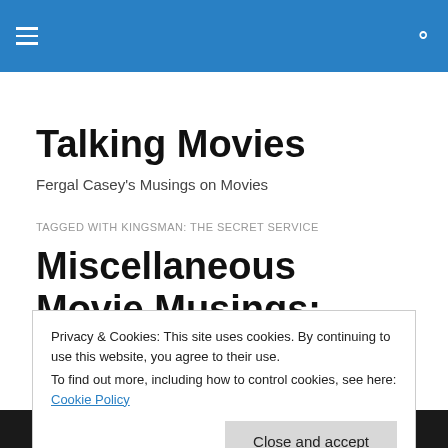Talking Movies — navigation header bar with hamburger menu and search icon
Talking Movies
Fergal Casey's Musings on Movies
TAGGED WITH KINGSMAN: THE SECRET SERVICE
Miscellaneous Movie Musings: Part XXIV
Privacy & Cookies: This site uses cookies. By continuing to use this website, you agree to their use.
To find out more, including how to control cookies, see here: Cookie Policy
Close and accept